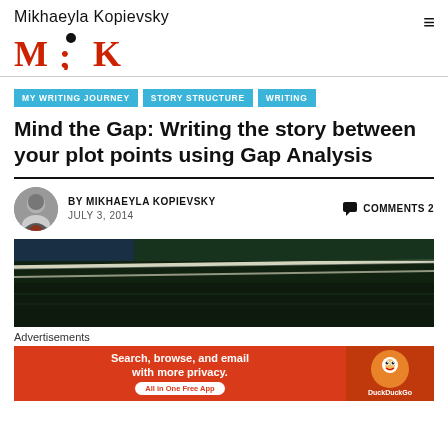Mikhaeyla Kopievsky
[Figure (logo): M;K logo in red serif font with a small dot above the semicolon]
MY WRITING JOURNEY
STORY STRUCTURE
WRITING
Mind the Gap: Writing the story between your plot points using Gap Analysis
BY MIKHAEYLA KOPIEVSKY   COMMENTS 2
JULY 3, 2014
[Figure (photo): Dark, close-up photograph of what appears to be a train platform gap or rail edge with bright white lines on dark green/black surface]
Advertisements
[Figure (other): DuckDuckGo advertisement banner: 'Search, browse, and email with more privacy. All in One Free App' with DuckDuckGo logo on orange/red background]